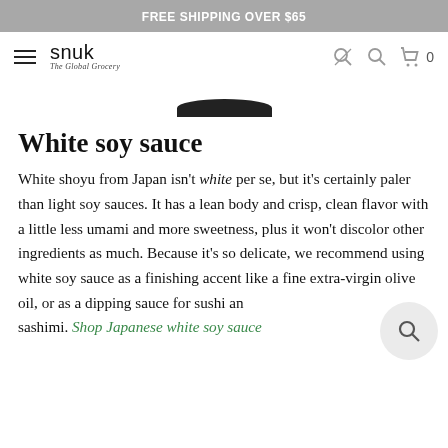FREE SHIPPING OVER $65
[Figure (logo): Snuk - The Global Grocery logo with hamburger menu and nav icons]
[Figure (photo): Partial view of a dark bowl or plate at the top of the page]
White soy sauce
White shoyu from Japan isn't white per se, but it's certainly paler than light soy sauces. It has a lean body and crisp, clean flavor with a little less umami and more sweetness, plus it won't discolor other ingredients as much. Because it's so delicate, we recommend using white soy sauce as a finishing accent like a fine extra-virgin olive oil, or as a dipping sauce for sushi and sashimi. Shop Japanese white soy sauce